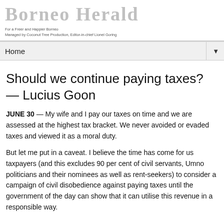Borneo Herald
For a Freer and Happier Borneo
Managed by Coconut Tree Production, Editor-in-chief Lionel Goring
Home
Should we continue paying taxes? — Lucius Goon
JUNE 30 — My wife and I pay our taxes on time and we are assessed at the highest tax bracket. We never avoided or evaded taxes and viewed it as a moral duty.
But let me put in a caveat. I believe the time has come for us taxpayers (and this excludes 90 per cent of civil servants, Umno politicians and their nominees as well as rent-seekers) to consider a campaign of civil disobedience against paying taxes until the government of the day can show that it can utilise this revenue in a responsible way.